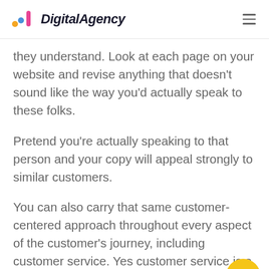DigitalAgency
they understand. Look at each page on your website and revise anything that doesn't sound like the way you'd actually speak to these folks.
Pretend you're actually speaking to that person and your copy will appeal strongly to similar customers.
You can also carry that same customer-centered approach throughout every aspect of the customer's journey, including customer service. Yes customer service is a key component in